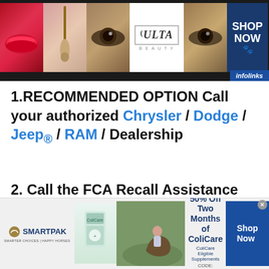[Figure (photo): Ulta Beauty advertisement banner showing makeup images (lips, brush, eyes), Ulta logo in center, and 'Shop Now' button on right with infolinks badge]
1.RECOMMENDED OPTION Call your authorized Chrysler / Dodge / Jeep® / RAM / Dealership
2. Call the FCA Recall Assistance Center at 1-800-853-1403. An
[Figure (photo): SmartPak advertisement banner: SmartPak logo with horse graphic on left, product image, horse and rider photo, offer text '50% Off Two Months of ColiCare — ColiCare Eligible Supplements CODE: COLICARE10', and Shop Now button]